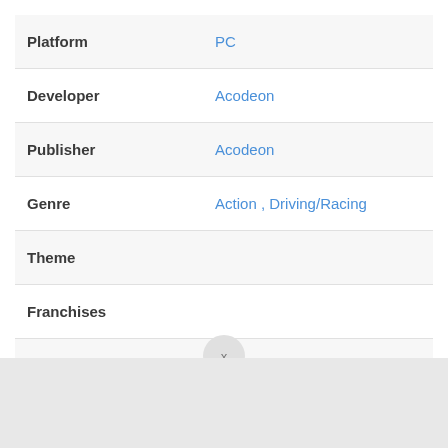| Field | Value |
| --- | --- |
| Platform | PC |
| Developer | Acodeon |
| Publisher | Acodeon |
| Genre | Action , Driving/Racing |
| Theme |  |
| Franchises |  |
| Aliases |  |